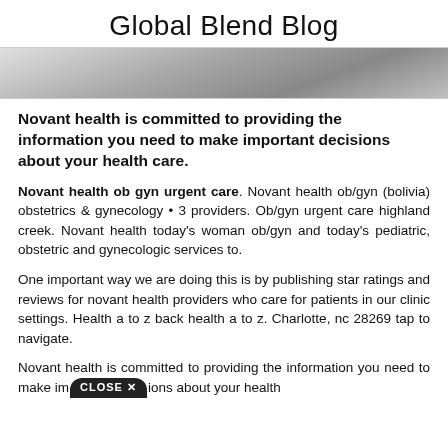Global Blend Blog
[Figure (photo): Partial view of a person in a white coat, grayscale photo cropped to show shoulders/torso area.]
Novant health is committed to providing the information you need to make important decisions about your health care.
Novant health ob gyn urgent care. Novant health ob/gyn (bolivia) obstetrics & gynecology • 3 providers. Ob/gyn urgent care highland creek. Novant health today's woman ob/gyn and today's pediatric, obstetric and gynecologic services to.
One important way we are doing this is by publishing star ratings and reviews for novant health providers who care for patients in our clinic settings. Health a to z back health a to z. Charlotte, nc 28269 tap to navigate.
Novant health is committed to providing the information you need to make important decisions about your health